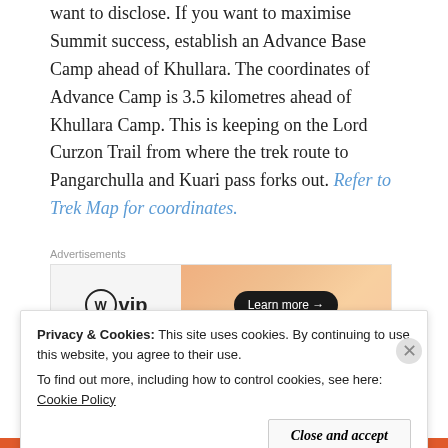want to disclose. If you want to maximise Summit success, establish an Advance Base Camp ahead of Khullara. The coordinates of Advance Camp is 3.5 kilometres ahead of Khullara Camp. This is keeping on the Lord Curzon Trail from where the trek route to Pangarchulla and Kuari pass forks out. Refer to Trek Map for coordinates.
[Figure (other): WordPress VIP advertisement banner with gradient orange background and 'Learn more' button]
[Figure (photo): Aerial/satellite map image showing snowy mountain terrain with trail markers]
Privacy & Cookies: This site uses cookies. By continuing to use this website, you agree to their use. To find out more, including how to control cookies, see here: Cookie Policy
Close and accept